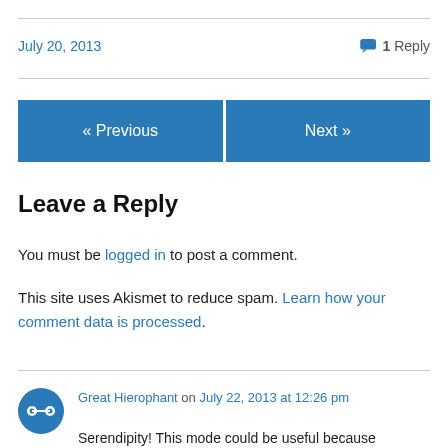July 20, 2013
1 Reply
« Previous
Next »
Leave a Reply
You must be logged in to post a comment.
This site uses Akismet to reduce spam. Learn how your comment data is processed.
Great Hierophant on July 22, 2013 at 12:26 pm
Serendipity! This mode could be useful because